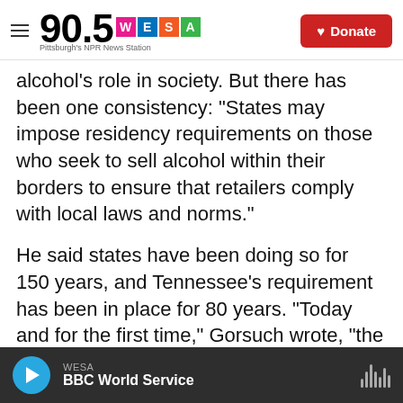90.5 WESA — Pittsburgh's NPR News Station | Donate
alcohol's role in society. But there has been one consistency: "States may impose residency requirements on those who seek to sell alcohol within their borders to ensure that retailers comply with local laws and norms."
He said states have been doing so for 150 years, and Tennessee's requirement has been in place for 80 years. "Today and for the first time," Gorsuch wrote, "the Court claims to have discovered a duty and power to strike down laws like these as unconstitutional. Respectfully, I do not see it."
WESA — BBC World Service